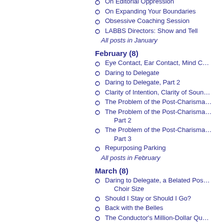On Editorial Oppression
On Expanding Your Boundaries
Obsessive Coaching Session
LABBS Directors: Show and Tell
All posts in January
February (8)
Eye Contact, Ear Contact, Mind C…
Daring to Delegate
Daring to Delegate, Part 2
Clarity of Intention, Clarity of Soun…
The Problem of the Post-Charisma…
The Problem of the Post-Charisma… Part 2
The Problem of the Post-Charisma… Part 3
Repurposing Parking
All posts in February
March (8)
Daring to Delegate, a Belated Pos… Choir Size
Should I Stay or Should I Go?
Back with the Belles
The Conductor's Million-Dollar Qu…
Soapbox: On Giving Feedback
The Dilemma of Drill
On Artistic Freedom
The Arranger's Super-Ego
All posts in March